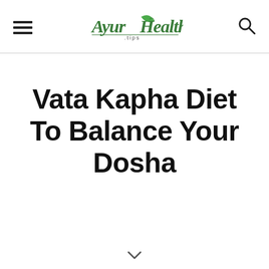AyurHealth [logo with hamburger menu and search icon]
Vata Kapha Diet To Balance Your Dosha